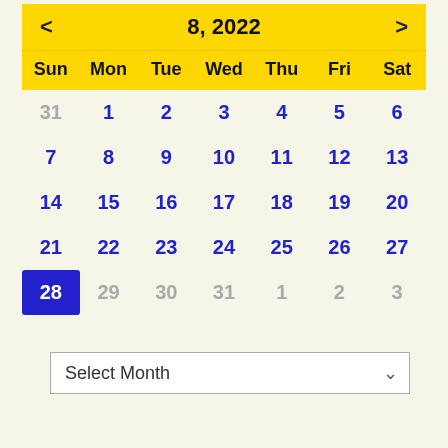[Figure (other): August 2022 calendar widget with yellow header showing month navigation (< 8, 2022 >), day headers (Sun Mon Tue Wed Thu Fri Sat), and calendar dates. Day 28 is highlighted with a blue background. Dates from other months (31, 29, 30, 31, 1, 2, 3) shown in gray.]
Select Month